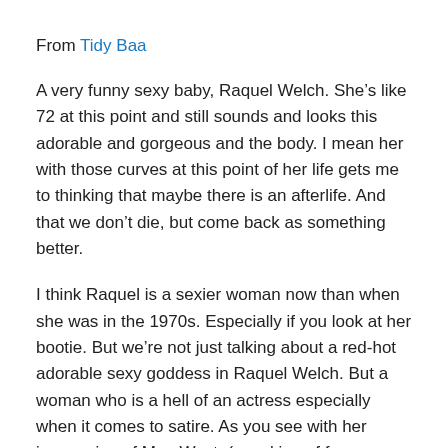From Tidy Baa
A very funny sexy baby, Raquel Welch. She’s like 72 at this point and still sounds and looks this adorable and gorgeous and the body. I mean her with those curves at this point of her life gets me to thinking that maybe there is an afterlife. And that we don’t die, but come back as something better.
I think Raquel is a sexier woman now than when she was in the 1970s. Especially if you look at her bootie. But we’re not just talking about a red-hot adorable sexy goddess in Raquel Welch. But a woman who is a hell of an actress especially when it comes to satire. As you see with her impression of Mae West, (speaking of funny people. She has Mae down and it would have been priceless to see Mae’s reaction to Raquel playing her. I believe she would